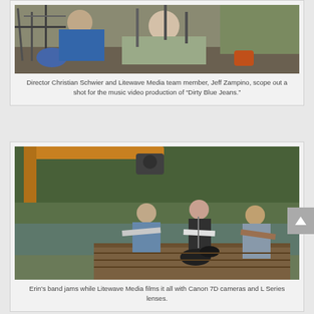[Figure (photo): Director Christian Schwier and Litewave Media team member Jeff Zampino scoping out a shot outdoors with camera equipment on stands.]
Director Christian Schwier and Litewave Media team member, Jeff Zampino, scope out a shot for the music video production of “Dirty Blue Jeans.”
[Figure (photo): Erin's band performing on a wooden dock over water with trees in background, crane camera rig overhead, Litewave Media filming with Canon 7D cameras and L Series lenses.]
Erin’s band jams while Litewave Media films it all with Canon 7D cameras and L Series lenses.